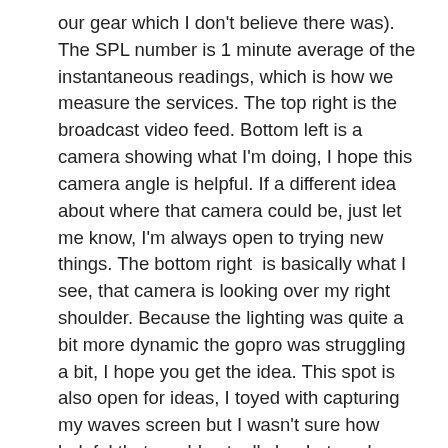our gear which I don't believe there was). The SPL number is 1 minute average of the instantaneous readings, which is how we measure the services. The top right is the broadcast video feed. Bottom left is a camera showing what I'm doing, I hope this camera angle is helpful. If a different idea about where that camera could be, just let me know, I'm always open to trying new things. The bottom right  is basically what I see, that camera is looking over my right shoulder. Because the lighting was quite a bit more dynamic the gopro was struggling a bit, I hope you get the idea. This spot is also open for ideas, I toyed with capturing my waves screen but I wasn't sure how helpful that would actually be. Let me know what you think!
4. This is a special service for Christmas but because this is one of our largest outreaches of the year, I do try to not blow the roof off. Because of the many extra inputs it won't sound just like a regular service but my intent is to